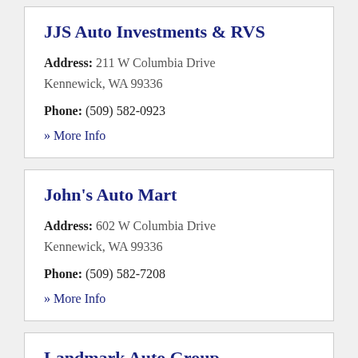JJS Auto Investments & RVS
Address: 211 W Columbia Drive Kennewick, WA 99336
Phone: (509) 582-0923
» More Info
John's Auto Mart
Address: 602 W Columbia Drive Kennewick, WA 99336
Phone: (509) 582-7208
» More Info
Landmark Auto Group
Address: 4607 W Clearwater Avenue